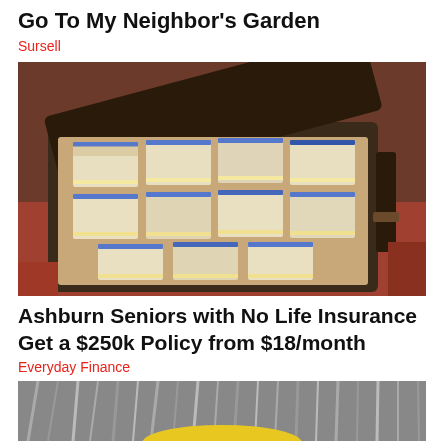Go To My Neighbor's Garden
Sursell
[Figure (photo): Open briefcase or suitcase filled with stacks of US dollar bills banded with blue straps, sitting on a reddish surface]
Ashburn Seniors with No Life Insurance Get a $250k Policy from $18/month
Everyday Finance
[Figure (photo): Close-up of gray/silver hair with a yellow element visible at the bottom edge]